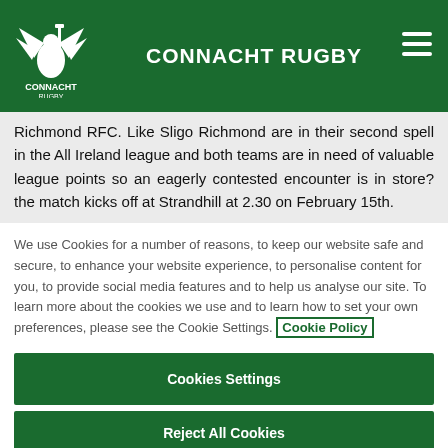CONNACHT RUGBY
Richmond RFC. Like Sligo Richmond are in their second spell in the All Ireland league and both teams are in need of valuable league points so an eagerly contested encounter is in store? the match kicks off at Strandhill at 2.30 on February 15th.
We use Cookies for a number of reasons, to keep our website safe and secure, to enhance your website experience, to personalise content for you, to provide social media features and to help us analyse our site. To learn more about the cookies we use and to learn how to set your own preferences, please see the Cookie Settings. Cookie Policy
Cookies Settings
Reject All Cookies